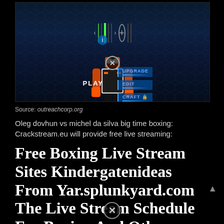[Figure (screenshot): Screenshot of a mobile game showing a robot character in armor with orange accents, game UI buttons (UPGRADE, EDIT, CRAFT) on left, PLAY button top right, character selection row at bottom with thumbnails.]
Source: outreachcorp.org
Oleg dovhun vs michel da silva big time boxing: Crackstream.eu will provide free live streaming:
Free Boxing Live Stream Sites Kindergatenideas From Yar.splunkyard.com The Live Stream Schedule For Boxing And Other Martial Arts Updated